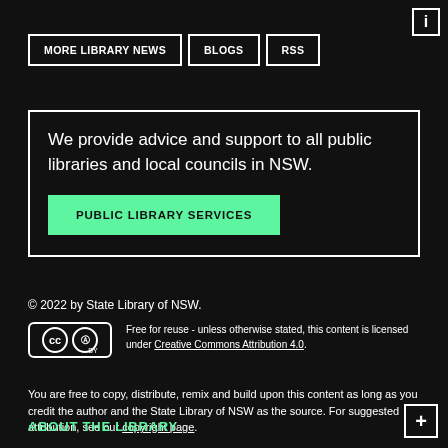MORE LIBRARY NEWS
BLOGS
RSS
We provide advice and support to all public libraries and local councils in NSW.
PUBLIC LIBRARY SERVICES
© 2022 by State Library of NSW.
Free for reuse - unless otherwise stated, this content is licensed under Creative Commons Attribution 4.0.
You are free to copy, distribute, remix and build upon this content as long as you credit the author and the State Library of NSW as the source. For suggested attribution, see our copyright page.
ABOUT THE LIBRARY